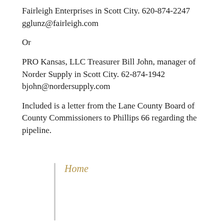Fairleigh Enterprises in Scott City. 620-874-2247
gglunz@fairleigh.com
Or
PRO Kansas, LLC Treasurer Bill John, manager of Norder Supply in Scott City. 62-874-1942
bjohn@nordersupply.com
Included is a letter from the Lane County Board of County Commissioners to Phillips 66 regarding the pipeline.
Home